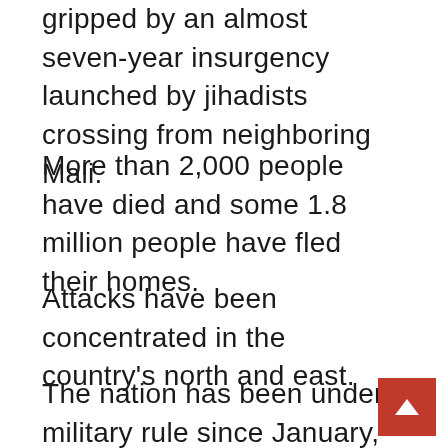gripped by an almost seven-year insurgency launched by jihadists crossing from neighboring Mali.
More than 2,000 people have died and some 1.8 million people have fled their homes.
Attacks have been concentrated in the country’s north and east.
The nation has been under military rule since January, when colonels angered at failures to roll back the